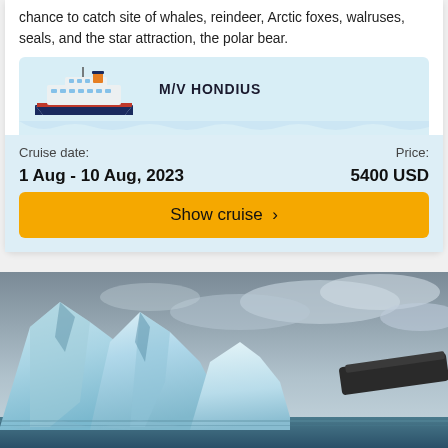chance to catch site of whales, reindeer, Arctic foxes, walruses, seals, and the star attraction, the polar bear.
[Figure (illustration): Illustration of M/V Hondius cruise ship on stylized blue waves. Ship is white and dark blue with an orange funnel.]
M/V HONDIUS
Cruise date:
1 Aug - 10 Aug, 2023
Price:
5400 USD
Show cruise >
[Figure (photo): Photograph of large blue-white icebergs with jagged peaks in the foreground against an overcast cloudy sky. A dark object (possibly a ship hull or log) is visible at the right edge.]